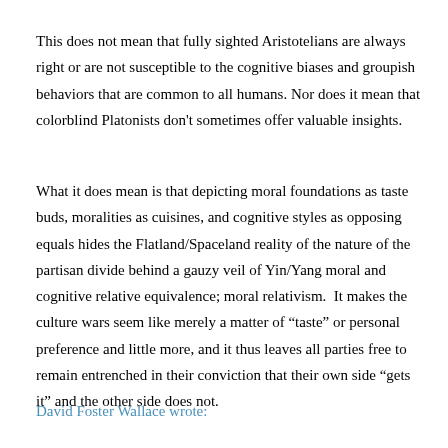This does not mean that fully sighted Aristotelians are always right or are not susceptible to the cognitive biases and groupish behaviors that are common to all humans. Nor does it mean that colorblind Platonists don't sometimes offer valuable insights.
What it does mean is that depicting moral foundations as taste buds, moralities as cuisines, and cognitive styles as opposing equals hides the Flatland/Spaceland reality of the nature of the partisan divide behind a gauzy veil of Yin/Yang moral and cognitive relative equivalence; moral relativism.  It makes the culture wars seem like merely a matter of “taste” or personal preference and little more, and it thus leaves all parties free to remain entrenched in their conviction that their own side “gets it” and the other side does not.
David Foster Wallace wrote: